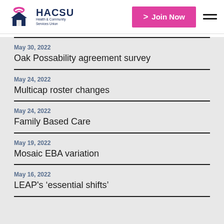[Figure (logo): HACSU Health & Community Services Union logo with pink house/person icon and dark blue text]
Join Now
May 30, 2022
Oak Possability agreement survey
May 24, 2022
Multicap roster changes
May 24, 2022
Family Based Care
May 19, 2022
Mosaic EBA variation
May 16, 2022
LEAP's 'essential shifts'